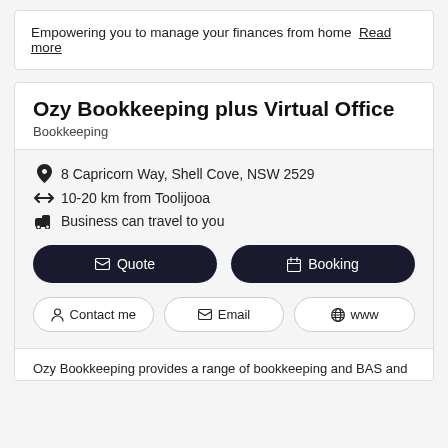Empowering you to manage your finances from home  Read more
Ozy Bookkeeping plus Virtual Office
Bookkeeping
8 Capricorn Way, Shell Cove, NSW 2529
10-20 km from Toolijooa
Business can travel to you
Quote  Booking
Contact me  Email  www
Ozy Bookkeeping provides a range of bookkeeping and BAS and